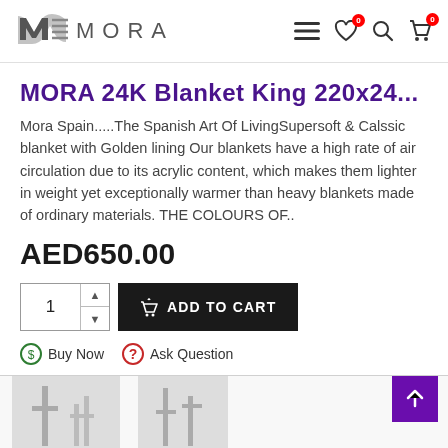[Figure (logo): Mora Spain logo with stylized M graphic and MORA wordmark]
MORA 24K Blanket King 220x24...
Mora Spain.....The Spanish Art Of LivingSupersoft & Calssic blanket with Golden lining Our blankets have a high rate of air circulation due to its acrylic content, which makes them lighter in weight yet exceptionally warmer than heavy blankets made of ordinary materials. THE COLOURS OF..
AED650.00
Buy Now
Ask Question